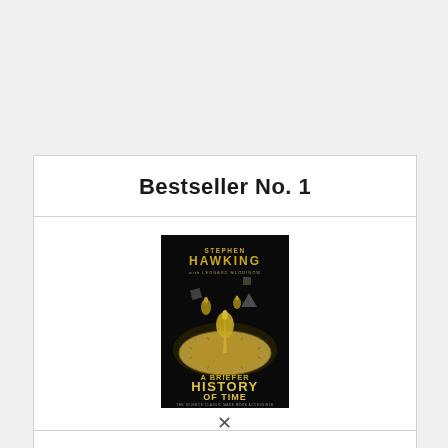Bestseller No. 1
[Figure (illustration): Book cover of 'A Briefer History of Time' by Stephen Hawking with Leonard Mlodinow. Dark background with gold 3D geometric shapes and a sundial. Text reads: STEPHEN HAWKING with LEONARD MLODINOW, A BRIEFER HISTORY OF TIME, THE SCIENCE CLASSIC MADE MORE ACCESSIBLE.]